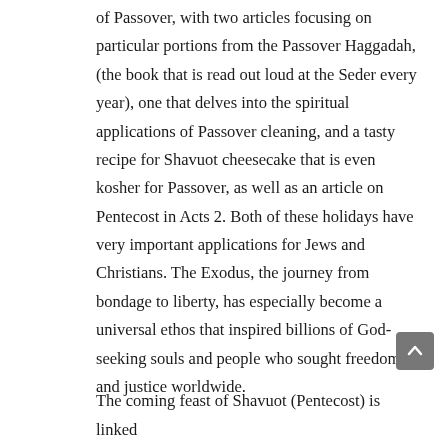of Passover, with two articles focusing on particular portions from the Passover Haggadah, (the book that is read out loud at the Seder every year), one that delves into the spiritual applications of Passover cleaning, and a tasty recipe for Shavuot cheesecake that is even kosher for Passover, as well as an article on Pentecost in Acts 2. Both of these holidays have very important applications for Jews and Christians. The Exodus, the journey from bondage to liberty, has especially become a universal ethos that inspired billions of God-seeking souls and people who sought freedom and justice worldwide.
The coming feast of Shavuot (Pentecost) is linked